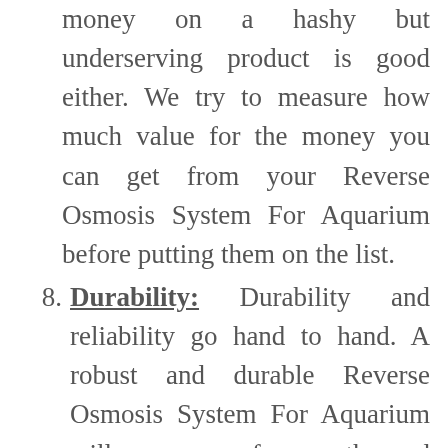money on a hashy but underserving product is good either. We try to measure how much value for the money you can get from your Reverse Osmosis System For Aquarium before putting them on the list.
8. Durability: Durability and reliability go hand to hand. A robust and durable Reverse Osmosis System For Aquarium will serve you for months and years to come.
9. Availability: Products come and go, new